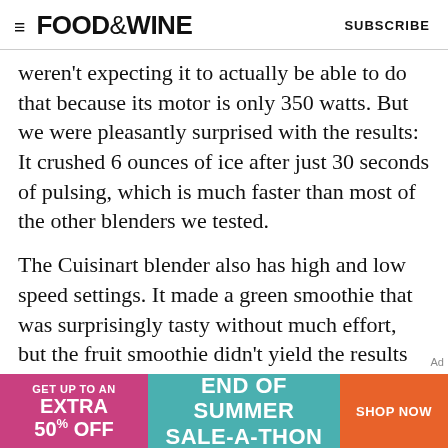FOOD&WINE   SUBSCRIBE
weren't expecting it to actually be able to do that because its motor is only 350 watts. But we were pleasantly surprised with the results: It crushed 6 ounces of ice after just 30 seconds of pulsing, which is much faster than most of the other blenders we tested.
The Cuisinart blender also has high and low speed settings. It made a green smoothie that was surprisingly tasty without much effort, but the fruit smoothie didn't yield the results we'd hoped for. There were a lot of seeds left over after blending for a minute and 20 seconds, and it tasted like the smoothies made in some of the cheaper blenders
[Figure (other): Advertisement banner: pink section 'GET UP TO AN EXTRA 50% OFF', teal section 'END OF SUMMER SALE-A-THON', orange button 'SHOP NOW']